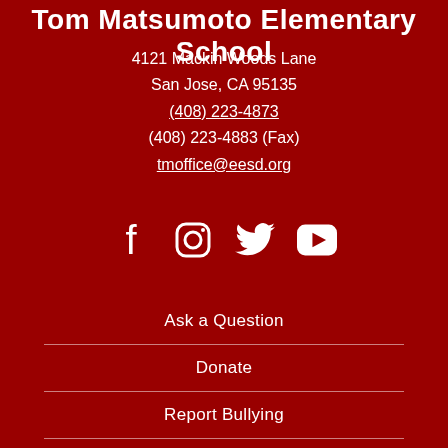Tom Matsumoto Elementary School
4121 Mackin Woods Lane
San Jose, CA  95135
(408) 223-4873
(408) 223-4883 (Fax)
tmoffice@eesd.org
[Figure (infographic): Social media icons: Facebook, Instagram, Twitter, YouTube]
Ask a Question
Donate
Report Bullying
Provide Feedback